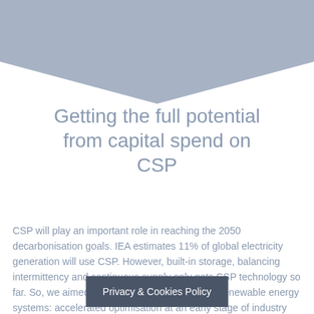[Figure (illustration): A large downward-pointing chevron/arrow shape in muted steel blue/grey color, spanning the full width at the top of the page]
Getting the full potential from capital spend on CSP
CSP will play an important role in reaching the 2050 decarbonisation goals. IEA estimates 11% of global electricity generation will use CSP. However, built-in storage, balancing intermittency and continuous supply only gets CSP technology so far. So, we aimed for a target not seen in other renewable energy systems: accelerated optimisation at an early stage of industry maturity.
Privacy & Cookies Policy